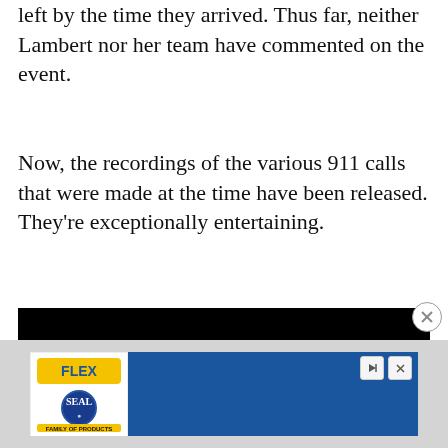left by the time they arrived. Thus far, neither Lambert nor her team have commented on the event.
Now, the recordings of the various 911 calls that were made at the time have been released. They're exceptionally entertaining.
[Figure (screenshot): Black video player embed]
[Figure (other): Flex Seal advertisement banner with logo on left and blue area on right, with play and close controls]